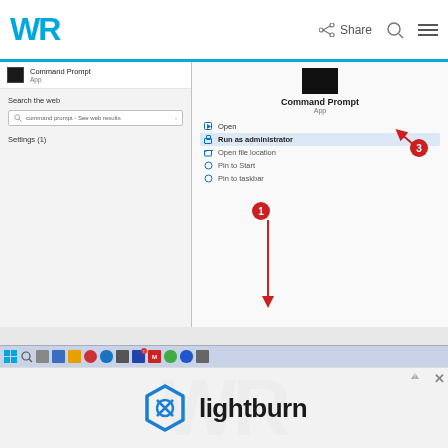WR | Share
[Figure (screenshot): Windows Start menu search showing Command Prompt app with right-click context menu open, displaying options: Open, Run as administrator (highlighted with red arrow annotation labeled 3), Open file location, Pin to Start, Pin to taskbar. Red arrow labeled 1 points to the Windows taskbar at the bottom of the screen.]
[Figure (screenshot): Advertisement banner for LightBurn software showing the LightBurn hexagon logo and text 'lightburn']